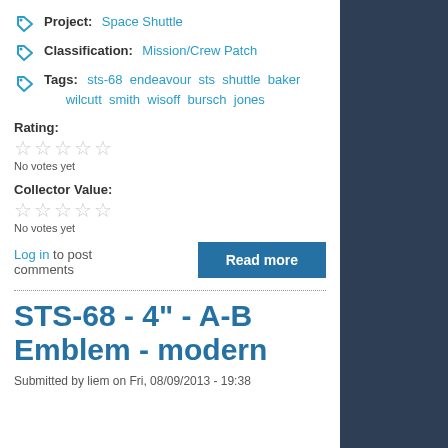Project: Space Shuttle
Classification: Mission/Crew Patch
Tags: sts-68 endeavour sts shuttle baker wilcutt smith wisoff bursch jones
Rating:
☆☆☆☆☆
No votes yet
Collector Value:
☆☆☆☆☆
No votes yet
Log in to post comments
Read more
STS-68 - 4" - A-B Emblem - modern
Submitted by liem on Fri, 08/09/2013 - 19:38